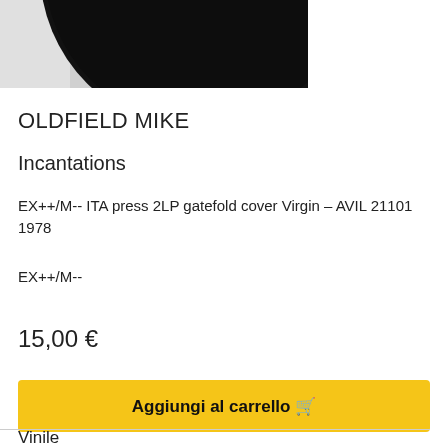[Figure (photo): Partial view of a black vinyl record against a white/grey background, cropped at the top of the page]
OLDFIELD MIKE
Incantations
EX++/M-- ITA press 2LP gatefold cover Virgin – AVIL 21101 1978
EX++/M--
15,00 €
Aggiungi al carrello 🛒
Vinile